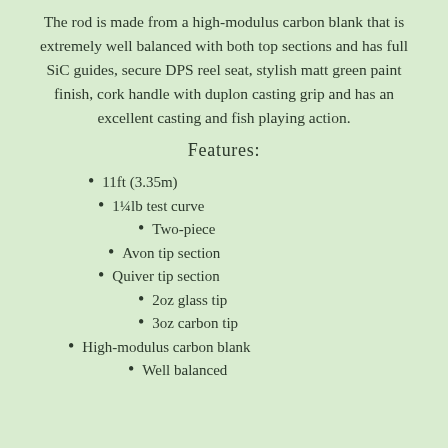The rod is made from a high-modulus carbon blank that is extremely well balanced with both top sections and has full SiC guides, secure DPS reel seat, stylish matt green paint finish, cork handle with duplon casting grip and has an excellent casting and fish playing action.
Features:
11ft (3.35m)
1¼lb test curve
Two-piece
Avon tip section
Quiver tip section
2oz glass tip
3oz carbon tip
High-modulus carbon blank
Well balanced